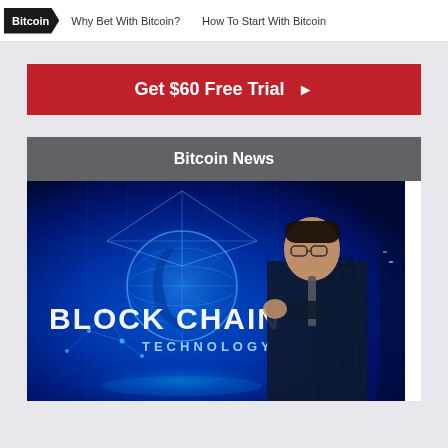Bitcoin  Why Bet With Bitcoin?  How To Start With Bitcoin
Get $60 Free Trial ▶
Bitcoin News
[Figure (photo): A man in a suit with glasses posed thoughtfully in front of a glowing blue blockchain technology graphic displaying the words BLOCK CHAIN TECHNOLOGY]